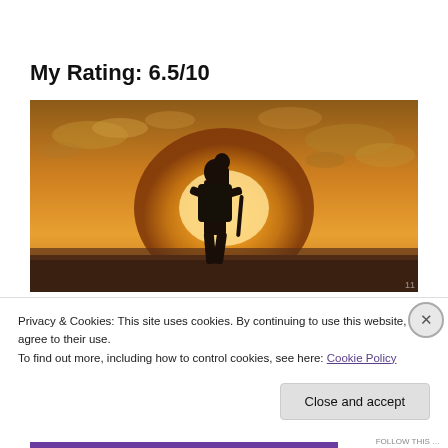My Rating: 6.5/10
[Figure (photo): Silhouette of a person with a backpack carrying a child on their back, walking toward the camera against a golden sunset sky with clouds.]
Privacy & Cookies: This site uses cookies. By continuing to use this website, you agree to their use.
To find out more, including how to control cookies, see here: Cookie Policy
Close and accept